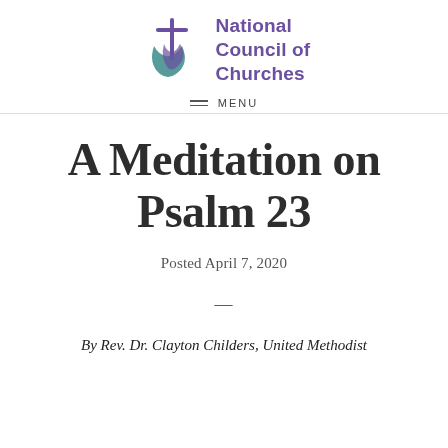National Council of Churches
A Meditation on Psalm 23
Posted April 7, 2020
—
By Rev. Dr. Clayton Childers, United Methodist